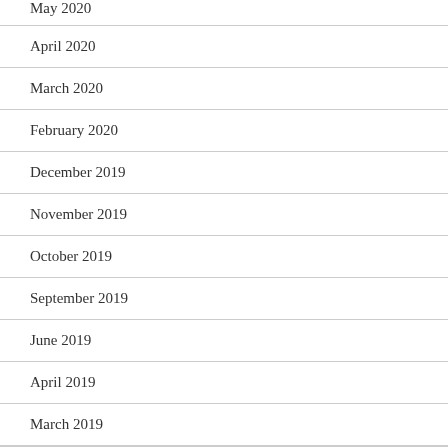May 2020
April 2020
March 2020
February 2020
December 2019
November 2019
October 2019
September 2019
June 2019
April 2019
March 2019
February 2019